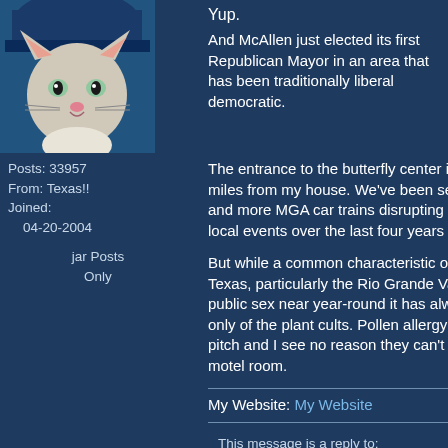Yup.
And McAllen just elected its first Republican Mayor in an area that has been traditionally liberal democratic.
Posts: 33957
From: Texas!!
Joined: 04-20-2004

jar Posts Only
The entrance to the butterfly center is just a few miles from my house. We've been seeing more and more MGA car trains disrupting elections and local events over the last four years down here.
But while a common characteristic of south Texas, particularly the Rio Grande Valley, is public sex near year-round it has always been only of the plant cults. Pollen allergy is a true pitch and I see no reason they can't just get a motel room.
My Website: My Website
This message is a reply to:
Message 173 by Tanypteryx, posted 01-29-2022 10:08 AM
Tanypteryx has not replied